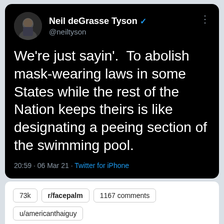[Figure (screenshot): Screenshot of a tweet by Neil deGrasse Tyson (@neiltyson) on a black background. The tweet reads: We're just sayin'. To abolish mask-wearing laws in some States while the rest of the Nation keeps theirs is like designating a peeing section of the swimming pool. Posted at 20:59 · 06 Mar 21 · Twitter for iPhone.]
73k  r/facepalm  1167 comments  u/americanthaiguy  Mar 06 2021  report
[Wojnarowski] Six-time All-Star forward